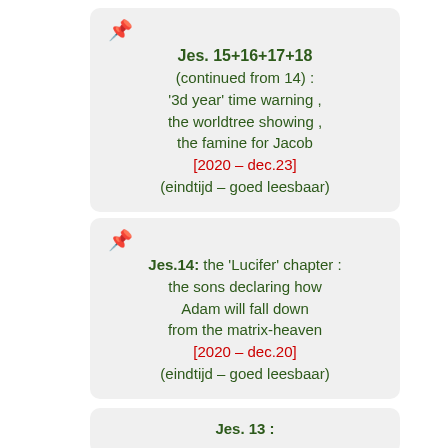Jes. 15+16+17+18 (continued from 14) : '3d year' time warning , the worldtree showing , the famine for Jacob [2020 – dec.23] (eindtijd – goed leesbaar)
Jes.14: the 'Lucifer' chapter : the sons declaring how Adam will fall down from the matrix-heaven [2020 – dec.20] (eindtijd – goed leesbaar)
Jes. 13 :